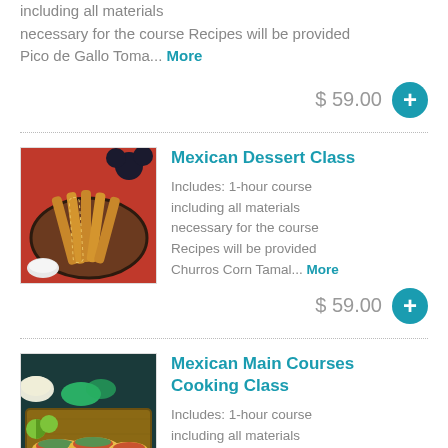including all materials necessary for the course Recipes will be provided Pico de Gallo Toma... More
$ 59.00
[Figure (photo): Photo of churros on a decorative plate with a red background]
Mexican Dessert Class
Includes: 1-hour course including all materials necessary for the course Recipes will be provided Churros Corn Tamal... More
$ 59.00
[Figure (photo): Photo of tacos on a wooden board with limes and sauce]
Mexican Main Courses Cooking Class
Includes: 1-hour course including all materials necessary for the course